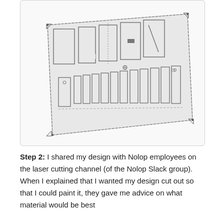[Figure (screenshot): A laser cutting design file shown in perspective/isometric view. The design features the word 'CLEAN' cut out in large block letters on a rectangular panel, along with a row of rectangular slots/tabs below the text. The design is shown with dashed cut lines and corner markers typical of a vector cutting software interface.]
Step 2: I shared my design with Nolop employees on the laser cutting channel (of the Nolop Slack group).  When I explained that I wanted my design cut out so that I could paint it, they gave me advice on what material would be best